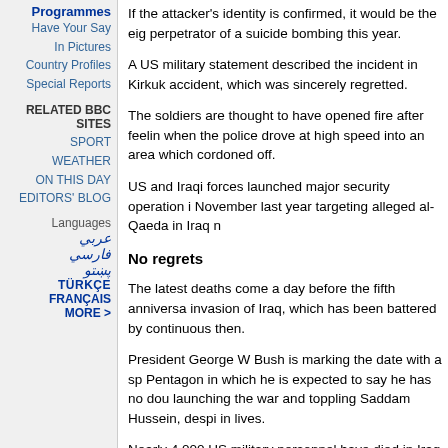Programmes
Have Your Say
In Pictures
Country Profiles
Special Reports
RELATED BBC SITES
SPORT
WEATHER
ON THIS DAY
EDITORS' BLOG
Languages
عربي
فارسي
پښتو
TÜRKÇE
FRANÇAIS
MORE >
If the attacker's identity is confirmed, it would be the eig perpetrator of a suicide bombing this year.
A US military statement described the incident in Kirkuk as accident, which was sincerely regretted.
The soldiers are thought to have opened fire after feeling when the police drove at high speed into an area which cordoned off.
US and Iraqi forces launched major security operation i November last year targeting alleged al-Qaeda in Iraq n
No regrets
The latest deaths come a day before the fifth anniversa invasion of Iraq, which has been battered by continuous then.
President George W Bush is marking the date with a sp Pentagon in which he is expected to say he has no dou launching the war and toppling Saddam Hussein, despi in lives.
Nearly 4,000 US military personnel have died in Iraq as 170 from Britain.
Tens of thousands of Iraqis have been killed, though the precise figures, and estimates vary widely.
Anti-war demonstrations are also expected in Washingt